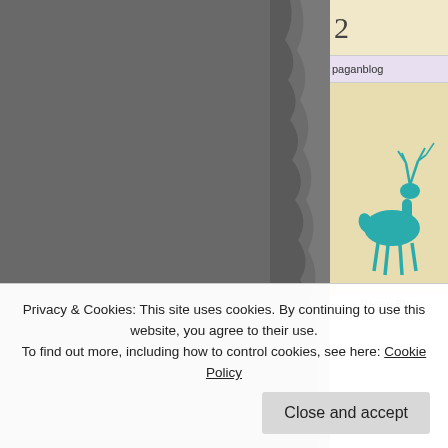[Figure (photo): Dark grey textured torn-edge photo on the left side of the page]
[Figure (illustration): Pagan Blog Project sidebar card with teal deer illustration on parchment background]
Pagan Blog
something to happen happened. This form avenues of manifesta
(more...)
Rate thi
Privacy & Cookies: This site uses cookies. By continuing to use this website, you agree to their use.
To find out more, including how to control cookies, see here: Cookie Policy
Close and accept